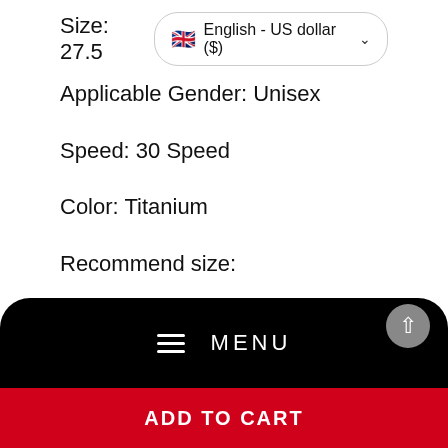Size: 27.5
English - US dollar ($)
Applicable Gender: Unisex
Speed: 30 Speed
Color: Titanium
Recommend size:
27.5 inch (height 168-185cm)
Frame material: titanium alloy
Fork:Lockable spring fork
MENU
ADD TO CART